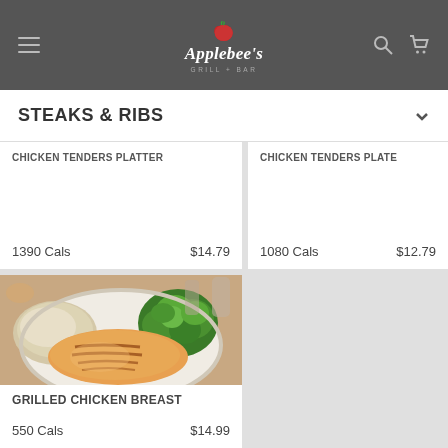[Figure (logo): Applebee's Grill + Bar logo with red apple icon on dark gray header bar with hamburger menu, search and cart icons]
STEAKS & RIBS
CHICKEN TENDERS PLATTER
1390 Cals  $14.79
CHICKEN TENDERS PLATE
1080 Cals  $12.79
[Figure (photo): Grilled chicken breast on a white plate with broccoli and mashed potatoes side dishes]
GRILLED CHICKEN BREAST
550 Cals  $14.99